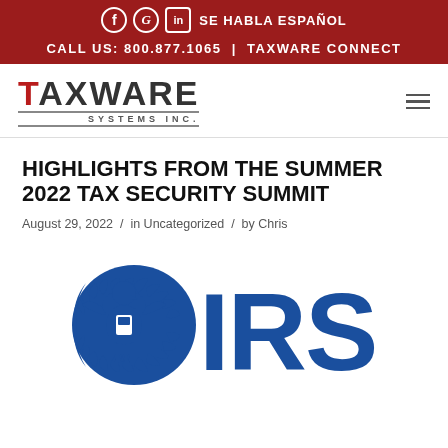SE HABLA ESPAÑOL | CALL US: 800.877.1065 | TAXWARE CONNECT
[Figure (logo): Taxware Systems Inc. logo with red T and company name]
HIGHLIGHTS FROM THE SUMMER 2022 TAX SECURITY SUMMIT
August 29, 2022 / in Uncategorized / by Chris
[Figure (logo): IRS (Internal Revenue Service) logo with eagle emblem and IRS text in blue]